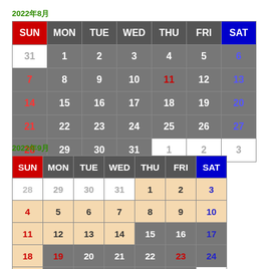2022年8月
| SUN | MON | TUE | WED | THU | FRI | SAT |
| --- | --- | --- | --- | --- | --- | --- |
| 31 | 1 | 2 | 3 | 4 | 5 | 6 |
| 7 | 8 | 9 | 10 | 11 | 12 | 13 |
| 14 | 15 | 16 | 17 | 18 | 19 | 20 |
| 21 | 22 | 23 | 24 | 25 | 26 | 27 |
| 28 | 29 | 30 | 31 | 1 | 2 | 3 |
2022年9月
| SUN | MON | TUE | WED | THU | FRI | SAT |
| --- | --- | --- | --- | --- | --- | --- |
| 28 | 29 | 30 | 31 | 1 | 2 | 3 |
| 4 | 5 | 6 | 7 | 8 | 9 | 10 |
| 11 | 12 | 13 | 14 | 15 | 16 | 17 |
| 18 | 19 | 20 | 21 | 22 | 23 | 24 |
| 25 | 26 | 27 | 28 | 29 | 30 | 1 |